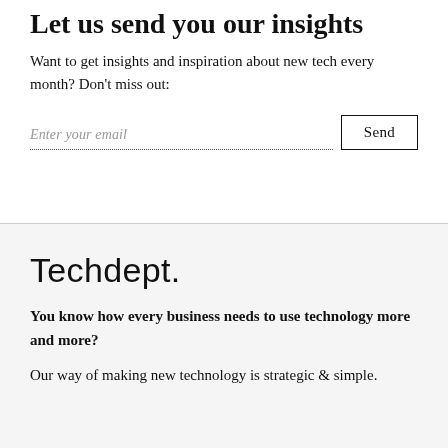Let us send you our insights
Want to get insights and inspiration about new tech every month? Don't miss out:
Enter your email  [Send]
[Figure (logo): Techdept. logo in thin sans-serif font]
You know how every business needs to use technology more and more?
Our way of making new technology is strategic & simple.